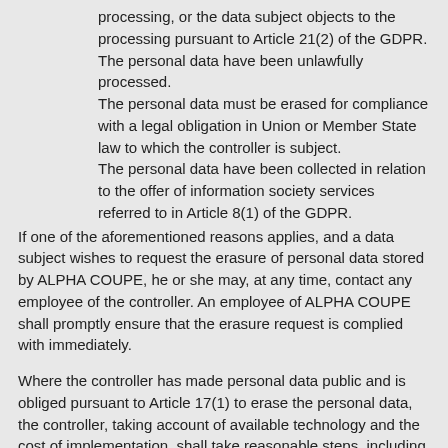processing, or the data subject objects to the processing pursuant to Article 21(2) of the GDPR. The personal data have been unlawfully processed.
The personal data must be erased for compliance with a legal obligation in Union or Member State law to which the controller is subject.
The personal data have been collected in relation to the offer of information society services referred to in Article 8(1) of the GDPR.
If one of the aforementioned reasons applies, and a data subject wishes to request the erasure of personal data stored by ALPHA COUPE, he or she may, at any time, contact any employee of the controller. An employee of ALPHA COUPE shall promptly ensure that the erasure request is complied with immediately.
Where the controller has made personal data public and is obliged pursuant to Article 17(1) to erase the personal data, the controller, taking account of available technology and the cost of implementation, shall take reasonable steps, including technical measures, to inform other controllers processing the personal data